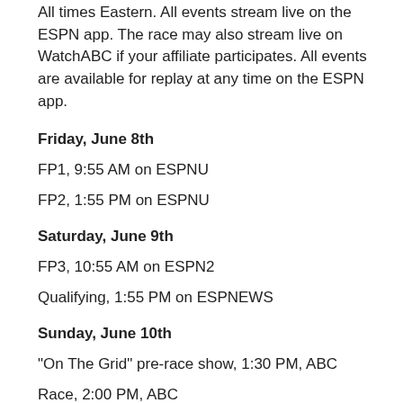All times Eastern.  All events stream live on the ESPN app.  The race may also stream live on WatchABC if your affiliate participates.  All events are available for replay at any time on the ESPN app.
Friday, June 8th
FP1, 9:55 AM on ESPNU
FP2, 1:55 PM on ESPNU
Saturday, June 9th
FP3, 10:55 AM on ESPN2
Qualifying, 1:55 PM on ESPNEWS
Sunday, June 10th
"On The Grid" pre-race show, 1:30 PM, ABC
Race, 2:00 PM, ABC
Encore presentation of race, 9:00 PM, ESPNEWS
Monday, June 11th
Encore presentation of race, 2:30 AM, ESPN2